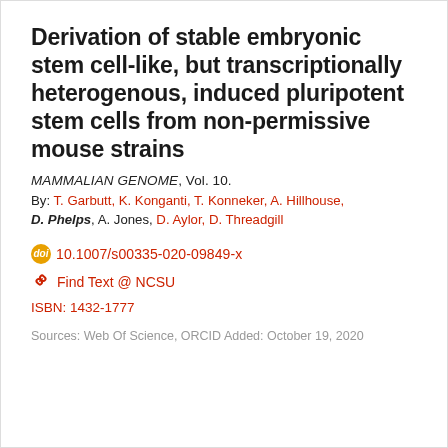Derivation of stable embryonic stem cell-like, but transcriptionally heterogenous, induced pluripotent stem cells from non-permissive mouse strains
MAMMALIAN GENOME, Vol. 10.
By: T. Garbutt, K. Konganti, T. Konneker, A. Hillhouse, D. Phelps, A. Jones, D. Aylor, D. Threadgill
10.1007/s00335-020-09849-x
Find Text @ NCSU
ISBN: 1432-1777
Sources: Web Of Science, ORCID Added: October 19, 2020